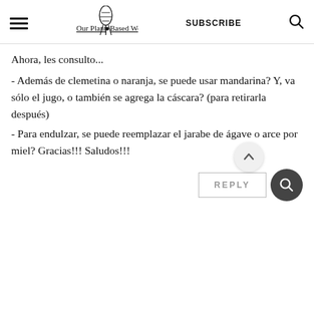Our Plant Based World | SUBSCRIBE
Ahora, les consulto...
- Además de clemetina o naranja, se puede usar mandarina? Y, va sólo el jugo, o también se agrega la cáscara? (para retirarla después)
- Para endulzar, se puede reemplazar el jarabe de ágave o arce por miel? Gracias!!! Saludos!!!